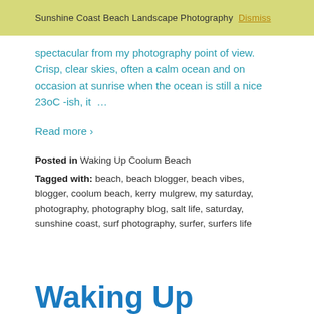Sunshine Coast Beach Landscape Photography Dismiss
spectacular from my photography point of view. Crisp, clear skies, often a calm ocean and on occasion at sunrise when the ocean is still a nice 23oC -ish, it  …
Read more ›
Posted in Waking Up Coolum Beach
Tagged with: beach, beach blogger, beach vibes, blogger, coolum beach, kerry mulgrew, my saturday, photography, photography blog, salt life, saturday, sunshine coast, surf photography, surfer, surfers life
Waking Up